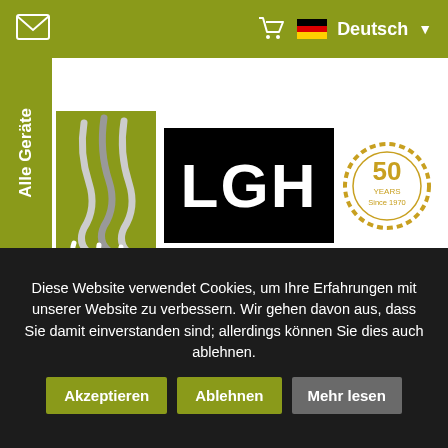LGH website header with email icon, cart icon, German flag, Deutsch language selector
[Figure (logo): LGH company logo: olive/green square with crane hook graphic, black rectangle with white bold LGH text, and a gold circular 50 Years Since 1970 anniversary badge]
Alle Geräte
[Figure (illustration): Partial view of a lifting crane/chain hoist device shown from below]
Diese Website verwendet Cookies, um Ihre Erfahrungen mit unserer Website zu verbessern. Wir gehen davon aus, dass Sie damit einverstanden sind; allerdings können Sie dies auch ablehnen.
Akzeptieren
Ablehnen
Mehr lesen